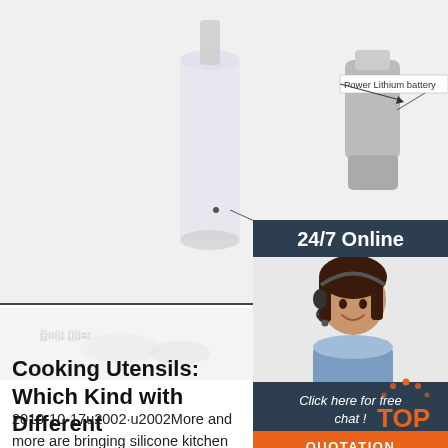[Figure (photo): Product photo of a water bottle/filter device with 'Built filter' label and arrow, and a separate component with 'Power Lithium battery' label and arrow pointing to it.]
[Figure (photo): 24/7 Online customer service widget with a female agent wearing a headset, text 'Click here for free chat!' and an orange QUOTATION button.]
[Figure (photo): Faded/reflected product image below the horizontal divider line.]
Cooking Utensils: Which Kind with Different
2019-10-17u2002·u2002More and more are bringing silicone kitchen utensils into their homes, and it's easy to see why! Food-grade silicone is heat- and stain-resistant, non-corrosive and non-reactive, and gentle on delicate surfaces. This makes silicone spoons